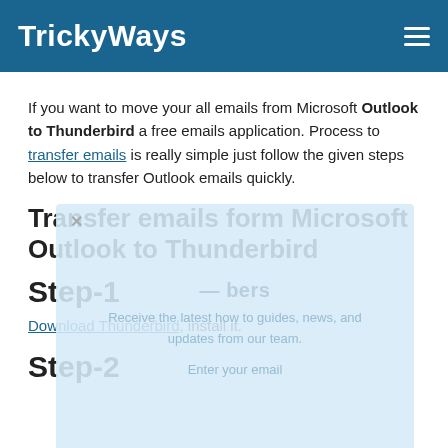TrickyWays
If you want to move your all emails from Microsoft Outlook to Thunderbird a free emails application. Process to transfer emails is really simple just follow the given steps below to transfer Outlook emails quickly.
Transfer emails form Microsoft Outlook to Thunderbird
Step-1
Download Thunderbird, install it.
Step-2